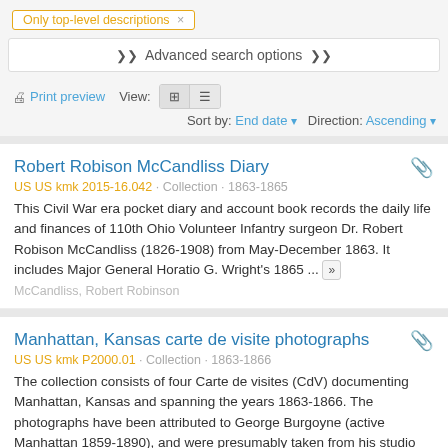Only top-level descriptions ×
❯❯ Advanced search options ❯❯
🖨 Print preview  View: [grid] [list]  Sort by: End date ▾  Direction: Ascending ▾
Robert Robison McCandliss Diary
US US kmk 2015-16.042 · Collection · 1863-1865
This Civil War era pocket diary and account book records the daily life and finances of 110th Ohio Volunteer Infantry surgeon Dr. Robert Robison McCandliss (1826-1908) from May-December 1863. It includes Major General Horatio G. Wright's 1865 ... »
McCandliss, Robert Robinson
Manhattan, Kansas carte de visite photographs
US US kmk P2000.01 · Collection · 1863-1866
The collection consists of four Carte de visites (CdV) documenting Manhattan, Kansas and spanning the years 1863-1866. The photographs have been attributed to George Burgoyne (active Manhattan 1859-1890), and were presumably taken from his studio